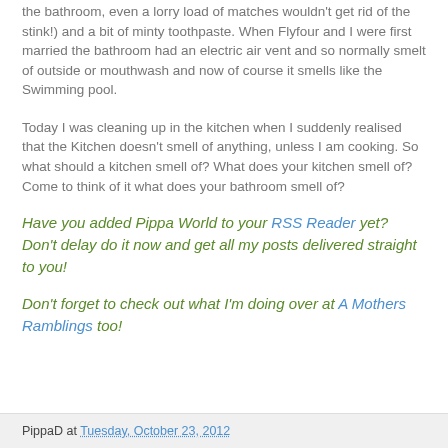the bathroom, even a lorry load of matches wouldn't get rid of the stink!) and a bit of minty toothpaste. When Flyfour and I were first married the bathroom had an electric air vent and so normally smelt of outside or mouthwash and now of course it smells like the Swimming pool.
Today I was cleaning up in the kitchen when I suddenly realised that the Kitchen doesn't smell of anything, unless I am cooking. So what should a kitchen smell of? What does your kitchen smell of? Come to think of it what does your bathroom smell of?
Have you added Pippa World to your RSS Reader yet? Don't delay do it now and get all my posts delivered straight to you!
Don't forget to check out what I'm doing over at A Mothers Ramblings too!
PippaD at Tuesday, October 23, 2012